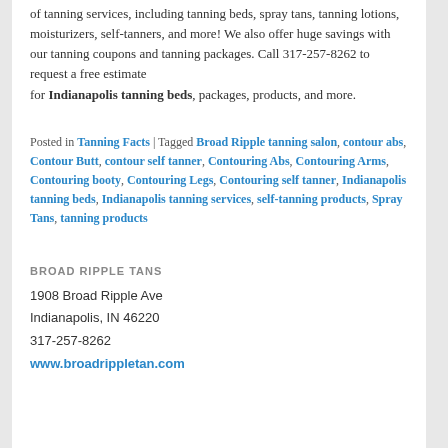of tanning services, including tanning beds, spray tans, tanning lotions, moisturizers, self-tanners, and more! We also offer huge savings with our tanning coupons and tanning packages. Call 317-257-8262 to request a free estimate for Indianapolis tanning beds, packages, products, and more.
Posted in Tanning Facts | Tagged Broad Ripple tanning salon, contour abs, Contour Butt, contour self tanner, Contouring Abs, Contouring Arms, Contouring booty, Contouring Legs, Contouring self tanner, Indianapolis tanning beds, Indianapolis tanning services, self-tanning products, Spray Tans, tanning products
BROAD RIPPLE TANS
1908 Broad Ripple Ave
Indianapolis, IN 46220
317-257-8262
www.broadrippletan.com